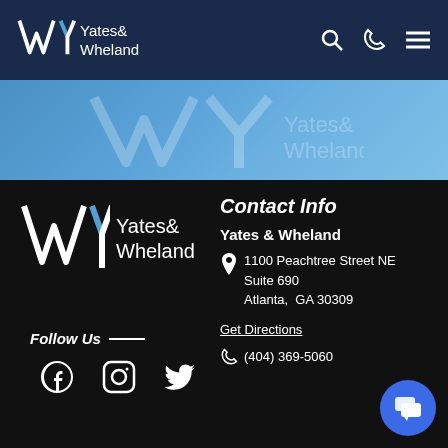[Figure (logo): Yates & Wheland navigation bar logo with search, phone, and menu icons]
[Figure (illustration): Light blue banner with watermark logo of Yates & Wheland]
[Figure (logo): Yates & Wheland large footer logo]
Follow Us
[Figure (illustration): Social media icons: Facebook, Instagram, Twitter]
Contact Info
Yates & Wheland
1100 Peachtree Street NE
Suite 690
Atlanta,  GA 30309
Get Directions
(404) 369-5060